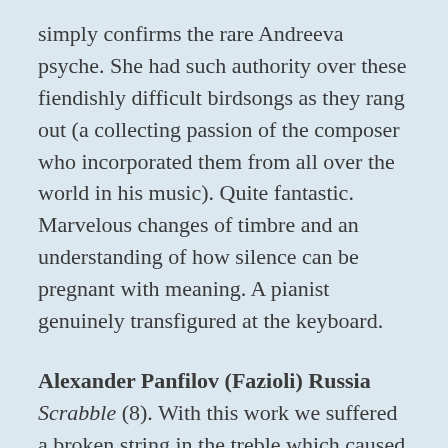simply confirms the rare Andreeva psyche. She had such authority over these fiendishly difficult birdsongs as they rang out (a collecting passion of the composer who incorporated them from all over the world in his music). Quite fantastic. Marvelous changes of timbre and an understanding of how silence can be pregnant with meaning. A pianist genuinely transfigured at the keyboard.
Alexander Panfilov (Fazioli) Russia Scrabble (8). With this work we suffered a broken string in the treble which caused some consternation and delay. He returned to play the Mussorgsky Pictures at an Exhibition